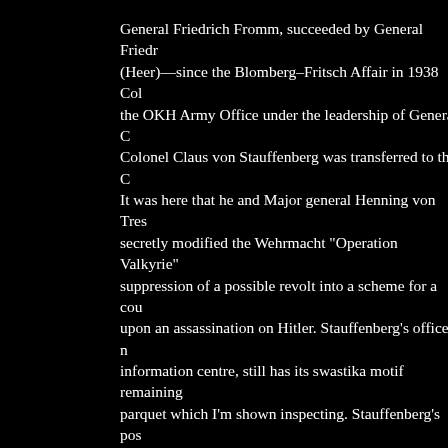General Friedrich Fromm, succeeded by General Friedr (Heer)—since the Blomberg–Fritsch Affair in 1938 Col the OKH Army Office under the leadership of General C Colonel Claus von Stauffenberg was transferred to the C It was here that he and Major general Henning von Tres secretly modified the Wehrmacht "Operation Valkyrie" suppression of a possible revolt into a scheme for a cou upon an assassination on Hitler. Stauffenberg's office, n information centre, still has its swastika motif remaining parquet which I'm shown inspecting. Stauffenberg's pos him direct access to situation briefings in Hitler's Wolf's headquarters in East Prussia. On July 20, 1944, he set th bomb there and immediately returned to Berlin. The bo but Hitler survived. As the day progressed and the news conspirators were unable to take control of Germany. Th instantly collapsed, and Hitler dispatched various forces the plotters and the plot organisers. Stauffenberg, Olbri Mertz von Quirnheim, and Lieutenant Werner von Haef caught late in the evening and summarily executed by f in the courtyard of the Bendler Block (the War Ministry from construction work in front of which the the cons